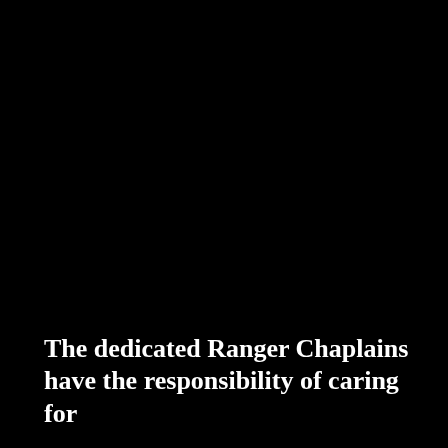[Figure (photo): Dark/black photograph, nearly entirely black, occupying the full page with text overlaid at the bottom]
The dedicated Ranger Chaplains have the responsibility of caring for